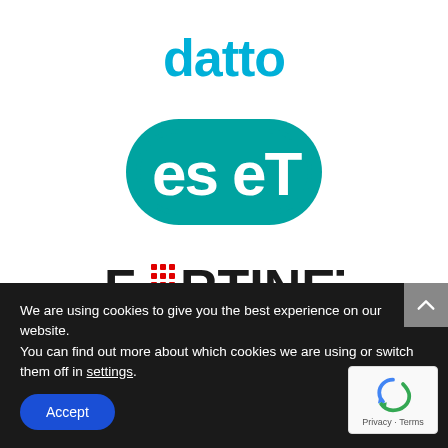[Figure (logo): Datto logo in cyan/blue color]
[Figure (logo): ESET logo — teal rounded rectangle with 'eSeT' text in white]
[Figure (logo): Fortinet logo in black with red grid dots replacing the 'O']
We are using cookies to give you the best experience on our website.
You can find out more about which cookies we are using or switch them off in settings.
Accept